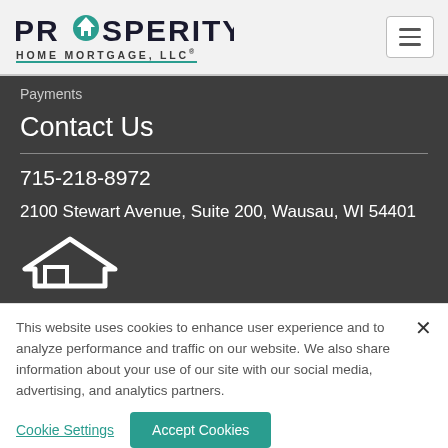PROSPERITY HOME MORTGAGE, LLC®
Payments
Contact Us
715-218-8972
2100 Stewart Avenue, Suite 200, Wausau, WI 54401
[Figure (logo): Prosperity Home Mortgage house icon]
This website uses cookies to enhance user experience and to analyze performance and traffic on our website. We also share information about your use of our site with our social media, advertising, and analytics partners.
Cookie Settings
Accept Cookies